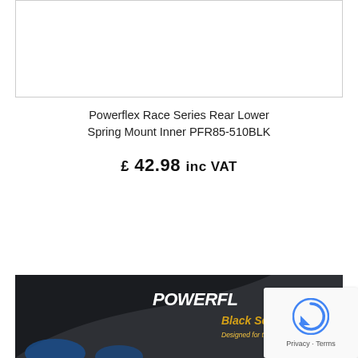[Figure (photo): White product image area at top (partially visible, cropped)]
Powerflex Race Series Rear Lower Spring Mount Inner PFR85-510BLK
£ 42.98 inc VAT
BUY NOW
[Figure (photo): Powerflex Black Series product packaging showing the brand logo and text 'Designed for the Track']